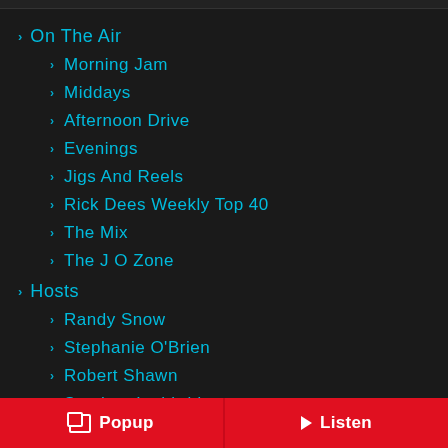On The Air
Morning Jam
Middays
Afternoon Drive
Evenings
Jigs And Reels
Rick Dees Weekly Top 40
The Mix
The J O Zone
Hosts
Randy Snow
Stephanie O'Brien
Robert Shawn
Stephen Lethbridge
Hugh Campbell
Popup   Listen